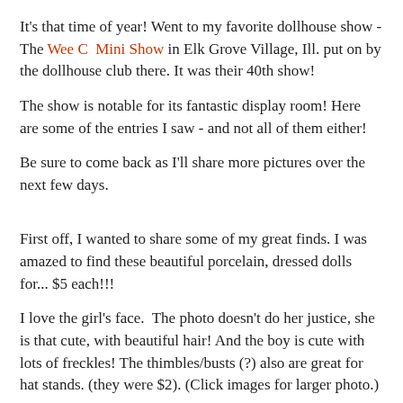It's that time of year! Went to my favorite dollhouse show - The Wee C  Mini Show in Elk Grove Village, Ill. put on by the dollhouse club there. It was their 40th show!
The show is notable for its fantastic display room! Here are some of the entries I saw - and not all of them either!
Be sure to come back as I'll share more pictures over the next few days.
First off, I wanted to share some of my great finds. I was amazed to find these beautiful porcelain, dressed dolls for... $5 each!!!
I love the girl's face.  The photo doesn't do her justice, she is that cute, with beautiful hair! And the boy is cute with lots of freckles! The thimbles/busts (?) also are great for hat stands. (they were $2). (Click images for larger photo.)